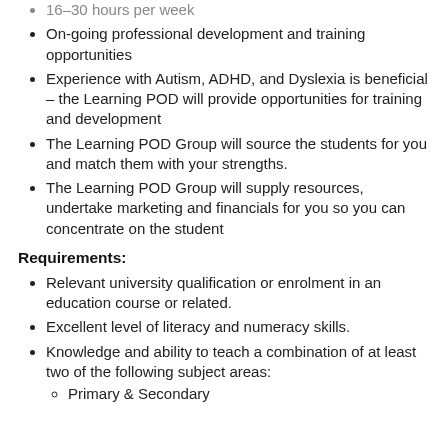16–30 hours per week
On-going professional development and training opportunities
Experience with Autism, ADHD, and Dyslexia is beneficial – the Learning POD will provide opportunities for training and development
The Learning POD Group will source the students for you and match them with your strengths.
The Learning POD Group will supply resources, undertake marketing and financials for you so you can concentrate on the student
Requirements:
Relevant university qualification or enrolment in an education course or related.
Excellent level of literacy and numeracy skills.
Knowledge and ability to teach a combination of at least two of the following subject areas:
Primary & Secondary